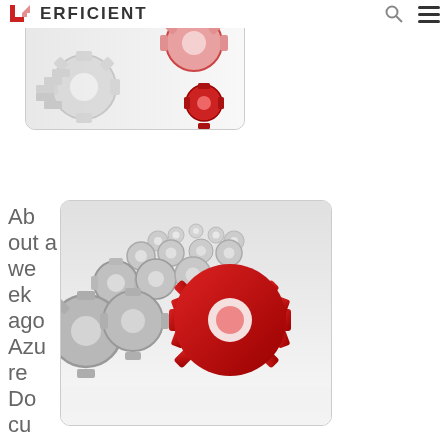ERFICIENT
[Figure (photo): Top image showing white and red gear/cog shapes on a light background, partially visible, with a rounded rectangle border]
[Figure (photo): Image showing rows of white gear/cog shapes receding into the background with a prominent red gear in the foreground right, on a white background, with a rounded rectangle border]
About a week ago Azure Docu